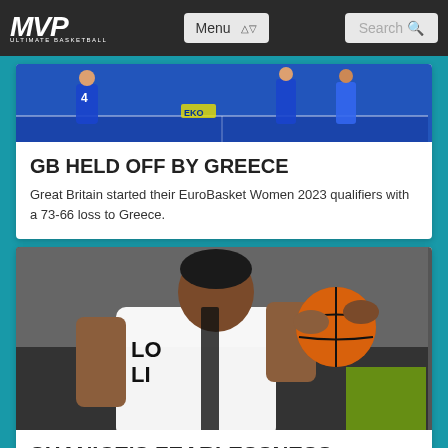[Figure (screenshot): MVP Ultimate Basketball website navigation bar with logo, Menu dropdown, and Search field on dark background]
[Figure (photo): Basketball players in blue uniforms on a court, partial view from above showing player wearing number 4]
GB HELD OFF BY GREECE
Great Britain started their EuroBasket Women 2023 qualifiers with a 73-66 loss to Greece.
[Figure (photo): Female basketball player in white London Lions uniform holding a basketball, preparing to shoot]
SHANICE'S FEARLESSNESS A NEW OPTION